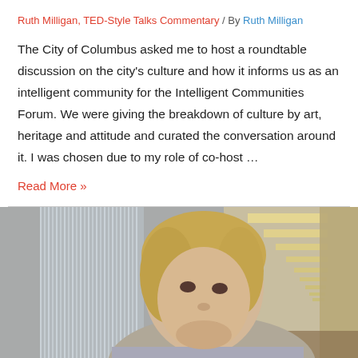Ruth Milligan, TED-Style Talks Commentary / By Ruth Milligan
The City of Columbus asked me to host a roundtable discussion on the city's culture and how it informs us as an intelligent community for the Intelligent Communities Forum. We were giving the breakdown of culture by art, heritage and attitude and curated the conversation around it. I was chosen due to my role of co-host …
Read More »
[Figure (photo): A woman with short blonde hair speaking, photographed in a corridor with glass panels on the left and receding ceiling lights on the right side of the background.]